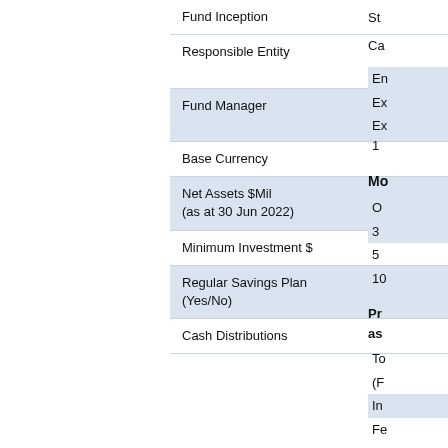|  |  |
| --- | --- |
| Fund Inception | 19 Sep 2005 |
| Responsible Entity | OnePath Funds Management Limited |
| Fund Manager | Ausbil Investment Management Limited |
| Base Currency | $A |
| Net Assets $Mil
(as at 30 Jun 2022) | 2.10 |
| Minimum Investment $ | 0 |
| Regular Savings Plan
(Yes/No) | Yes |
| Cash Distributions | Monthly |
St
Ca
En
Ex
Ex
1
Mo
O
3
5
10
Pr
as
To
(F
In
Fe